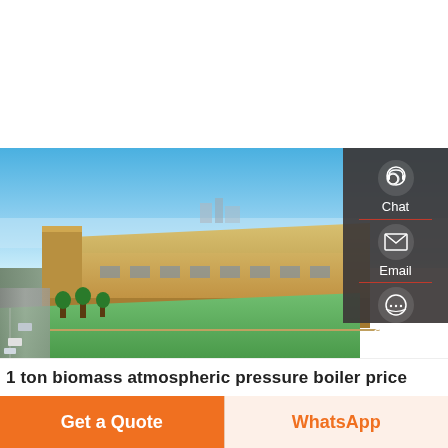[Figure (photo): Aerial view of a large industrial factory complex with golden/beige colored warehouse buildings, green lawn, blue sky, and surrounding roads. Contact sidebar overlaid on right side with Chat, Email, and Contact icons.]
1 ton biomass atmospheric pressure boiler price
Get a Quote
WhatsApp